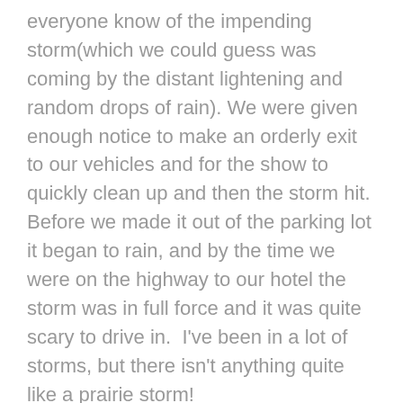everyone know of the impending storm(which we could guess was coming by the distant lightening and random drops of rain). We were given enough notice to make an orderly exit to our vehicles and for the show to quickly clean up and then the storm hit. Before we made it out of the parking lot it began to rain, and by the time we were on the highway to our hotel the storm was in full force and it was quite scary to drive in.  I've been in a lot of storms, but there isn't anything quite like a prairie storm!
That wrapped up all the Laura related parts of our trip, and now we just had to finish the drive home. It was one of my all-time favorite trips and I'm looking forward to going again with the kids are a little bit older. Maybe next time I'll get to see the whole show in Walnut